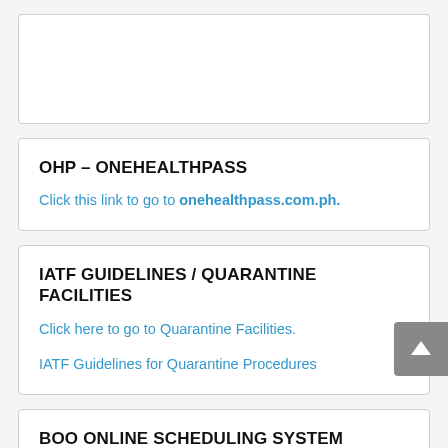OHP – ONEHEALTHPASS
Click this link to go to onehealthpass.com.ph.
IATF GUIDELINES / QUARANTINE FACILITIES
Click here to go to Quarantine Facilities.
IATF Guidelines for Quarantine Procedures
BOO ONLINE SCHEDULING SYSTEM